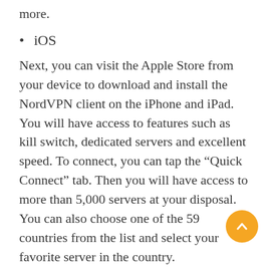more.
iOS
Next, you can visit the Apple Store from your device to download and install the NordVPN client on the iPhone and iPad. You will have access to features such as kill switch, dedicated servers and excellent speed. To connect, you can tap the “Quick Connect” tab. Then you will have access to more than 5,000 servers at your disposal. You can also choose one of the 59 countries from the list and select your favorite server in the country.
In addition, you will appreciate the fact